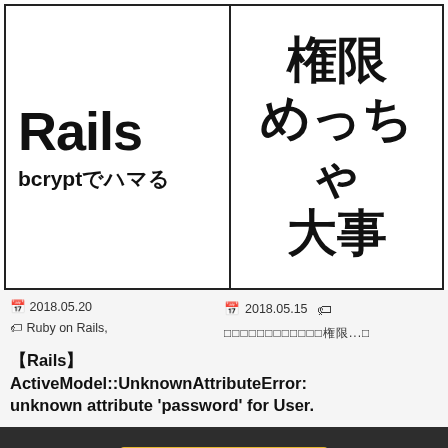[Figure (screenshot): Blog card thumbnail showing 'Rails bcryptでハマる' in large bold text]
[Figure (screenshot): Blog card thumbnail showing '権限 めっちゃ 大事' in large bold Japanese text]
📅 2018.05.20
🏷 Ruby on Rails,
📅 2018.05.15
□□□□□□□□□□□□権限...□
【Rails】ActiveModel::UnknownAttributeError: unknown attribute 'password' for User.
^ Back to Top
© Copyright 2022 □□□□□□□.